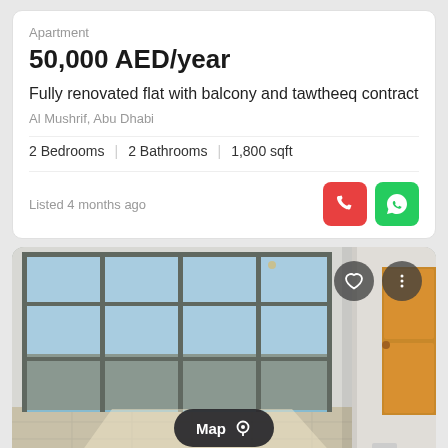Apartment
50,000 AED/year
Fully renovated flat with balcony and tawtheeq contract
Al Mushrif, Abu Dhabi
2 Bedrooms  |  2 Bathrooms  |  1,800 sqft
Listed 4 months ago
[Figure (photo): Interior photo of a renovated apartment room with floor-to-ceiling glass windows showing a city view, white walls, tiled floor with sunlight patterns, and a wooden door on the right. Map button overlay at bottom center, heart and menu icons at top right.]